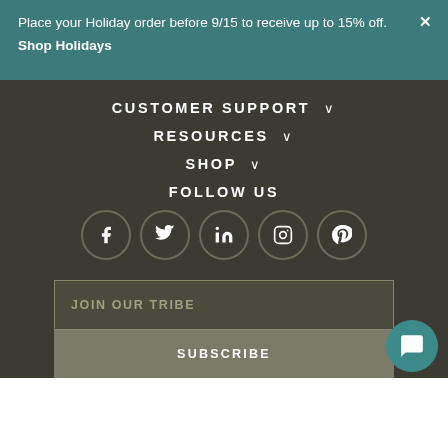Place your Holiday order before 9/15 to receive up to 15% off.
Shop Holidays
CUSTOMER SUPPORT
RESOURCES
SHOP
FOLLOW US
[Figure (infographic): Social media icons in circles: Facebook, Twitter, LinkedIn, Instagram, Pinterest]
JOIN OUR TRIBE
SUBSCRIBE